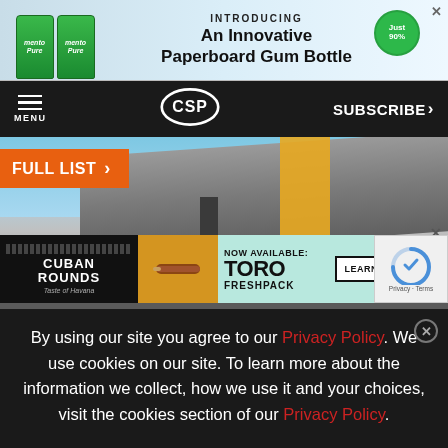[Figure (infographic): Advertisement banner for Mentos Paperboard Gum Bottle with text 'INTRODUCING An Innovative Paperboard Gum Bottle' and green badge]
MENU | CSP | SUBSCRIBE >
[Figure (photo): Gas station canopy with orange/yellow and dark gray colors against a blue sky background]
[Figure (infographic): Advertisement for Cuban Rounds Toro Freshpack cigars: 'NOW AVAILABLE: TORO FRESHPACK' with LEARN MORE button]
By using our site you agree to our Privacy Policy. We use cookies on our site. To learn more about the information we collect, how we use it and your choices, visit the cookies section of our Privacy Policy.